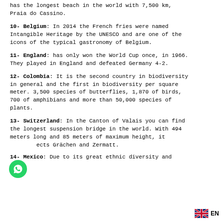has the longest beach in the world with 7,500 km, Praia do Cassino.
10- Belgium: In 2014 the French fries were named Intangible Heritage by the UNESCO and are one of the icons of the typical gastronomy of Belgium.
11- England: has only won the World Cup once, in 1966. They played in England and defeated Germany 4-2.
12- Colombia: It is the second country in biodiversity in general and the first in biodiversity per square meter. 3,500 species of butterflies, 1,870 of birds, 700 of amphibians and more than 50,000 species of plants.
13- Switzerland: In the Canton of Valais you can find the longest suspension bridge in the world. With 494 meters long and 85 meters of maximum height, it connects Grächen and Zermatt.
14- Mexico: Due to its great ethnic diversity and